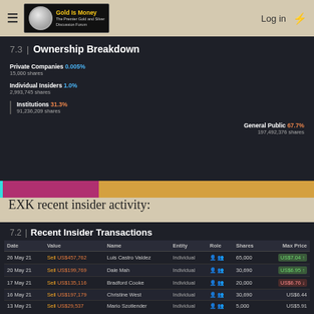Gold Is Money — The Premier Gold and Silver Discussion Forum | Log in
7.3 Ownership Breakdown
Private Companies 0.005%
15,000 shares
Individual Insiders 1.0%
2,993,745 shares
Institutions 31.3%
91,236,209 shares
General Public 67.7%
197,492,376 shares
[Figure (stacked-bar-chart): Ownership Breakdown]
EXK recent insider activity:
7.2 Recent Insider Transactions
| Date | Value | Name | Entity | Role | Shares | Max Price |
| --- | --- | --- | --- | --- | --- | --- |
| 26 May 21 | Sell US$457,762 | Luis Castro Valdez | Individual |  | 65,000 | US$7.04 |
| 20 May 21 | Sell US$199,769 | Dale Mah | Individual |  | 30,690 | US$6.95 |
| 17 May 21 | Sell US$135,116 | Bradford Cooke | Individual |  | 20,000 | US$6.76 |
| 16 May 21 | Sell US$197,179 | Christine West | Individual |  | 30,690 | US$6.44 |
| 13 May 21 | Sell US$29,537 | Mario Szotlender | Individual |  | 5,000 | US$5.91 |